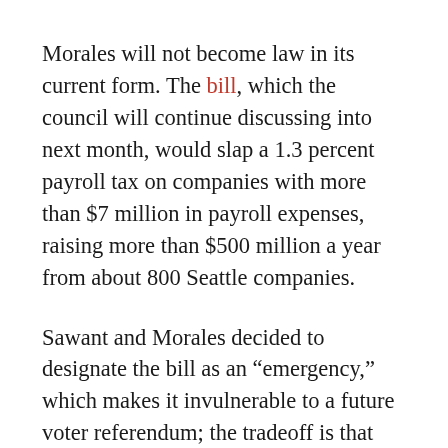Morales will not become law in its current form. The bill, which the council will continue discussing into next month, would slap a 1.3 percent payroll tax on companies with more than $7 million in payroll expenses, raising more than $500 million a year from about 800 Seattle companies.
Sawant and Morales decided to designate the bill as an “emergency,” which makes it invulnerable to a future voter referendum; the tradeoff is that they need 7 votes for approval, plus the support of Mayor Jenny Durkan, since the city charter requires mayoral approval of all emergency legislation. In other words, even if Morales and Sawant got five other council members on board—unlikely, if